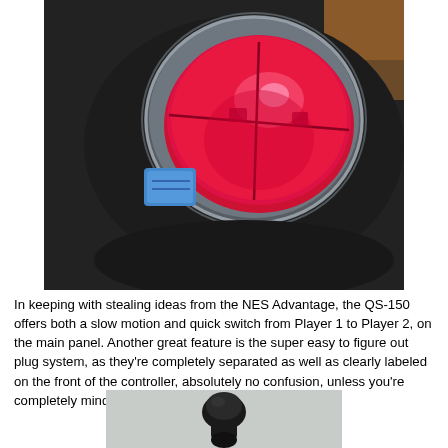[Figure (photo): Close-up photo of a game controller top panel showing a large red translucent button/joystick top under a clear dome, and a blue rectangular button to the left, on a black controller body.]
In keeping with stealing ideas from the NES Advantage, the QS-150 offers both a slow motion and quick switch from Player 1 to Player 2, on the main panel. Another great feature is the super easy to figure out plug system, as they're completely separated as well as clearly labeled on the front of the controller, absolutely no confusion, unless you're completely mindless.
[Figure (photo): Photo of a black game controller joystick handle/stick against a light gray background, viewed from above at an angle.]